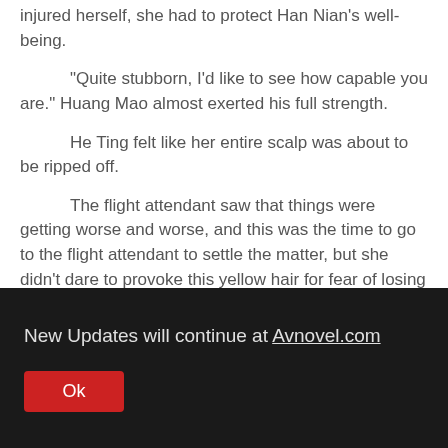injured herself, she had to protect Han Nian's well-being.
"Quite stubborn, I'd like to see how capable you are." Huang Mao almost exerted his full strength.
He Ting felt like her entire scalp was about to be ripped off.
The flight attendant saw that things were getting worse and worse, and this was the time to go to the flight attendant to settle the matter, but she didn't dare to provoke this yellow hair for fear of losing her job, so she could only head towards the toilet, hoping that Han Giang would come out and calm the matter down.
People have three urgent needs, and Han Gianxiang...
New Updates will continue at Avnovel.com
Ok